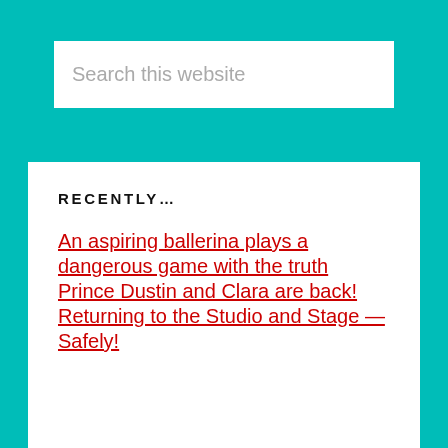Search this website
RECENTLY…
An aspiring ballerina plays a dangerous game with the truth
Prince Dustin and Clara are back!
Returning to the Studio and Stage — Safely!